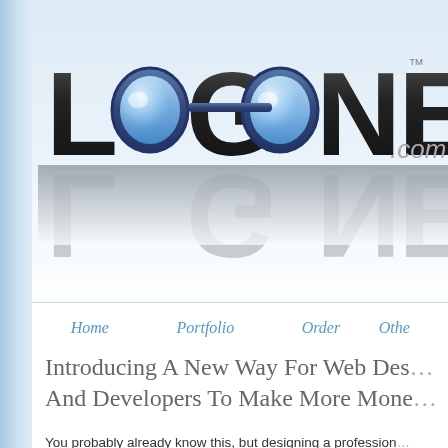[Figure (logo): LogoNerds.com logo with stylized goggles/glasses integrated into the text, dark 3D lettering with blue glass elements, trademark symbol, and '.com' in gray. Logo has a reflection effect below it. Background is light blue gradient.]
Home  Portfolio  Order  Othe...
Introducing A New Way For Web Des... And Developers To Make More Mone...
You probably already know this, but designing a profession... easy task. The amount of time it takes to research and con... logo design is very time consuming. Especially when you a... design & development work sitting on the table and your c... revisions. Wouldn't It Be Amazing If you could outsource th...